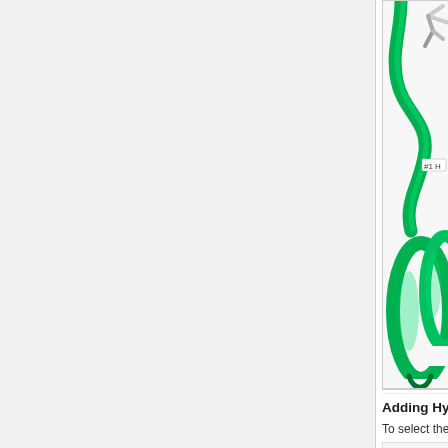[Figure (screenshot): 3D molecular viewer showing a protein structure rendered as a green ribbon/cartoon with alpha helices and a stick representation of a residue in gray/white. A label '#1 H' is visible near the top right of the molecule. The viewer has a white background with a thin border.]
Adding Hydrogens
To select the entire protein:
Select -> Chain -> A